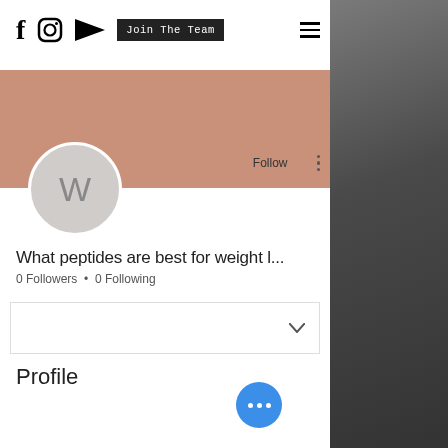f  [Instagram icon]  [YouTube icon]  Join The Team  [Menu]
[Figure (screenshot): Social profile header with mauve/rose cover photo, circular avatar with letter W, Follow button, and vertical ellipsis menu]
What peptides are best for weight l...
0 Followers • 0 Following
Profile